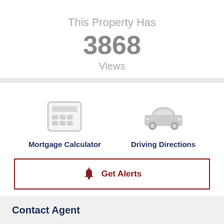This Property Has
3868
Views
[Figure (illustration): Calculator icon (gray grid of squares representing a calculator)]
Mortgage Calculator
[Figure (illustration): Car icon (gray silhouette of a car representing driving directions)]
Driving Directions
Get Alerts
Contact Agent